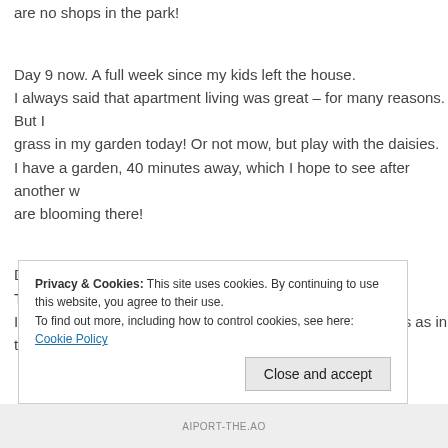are no shops in the park!
Day 9 now. A full week since my kids left the house.
I always said that apartment living was great – for many reasons. But I mow the grass in my garden today! Or not mow, but play with the daisies.
I have a garden, 40 minutes away, which I hope to see after another week. Daisies are blooming there!
Day 10.
Tickles.
I've never tickled my kids so much and so often in their lives as in the l...
Privacy & Cookies: This site uses cookies. By continuing to use this website, you agree to their use.
To find out more, including how to control cookies, see here: Cookie Policy
Close and accept